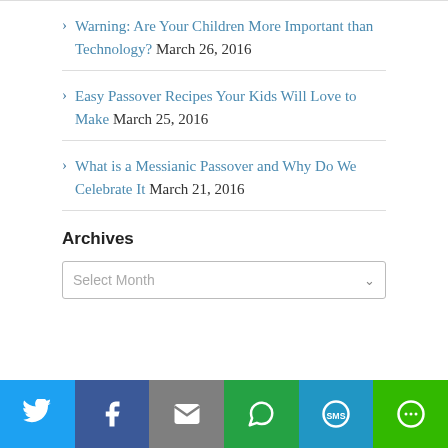Warning: Are Your Children More Important than Technology? March 26, 2016
Easy Passover Recipes Your Kids Will Love to Make March 25, 2016
What is a Messianic Passover and Why Do We Celebrate It March 21, 2016
Archives
Select Month
[Figure (infographic): Social sharing bar with icons for Twitter, Facebook, Email, WhatsApp, SMS, and More]